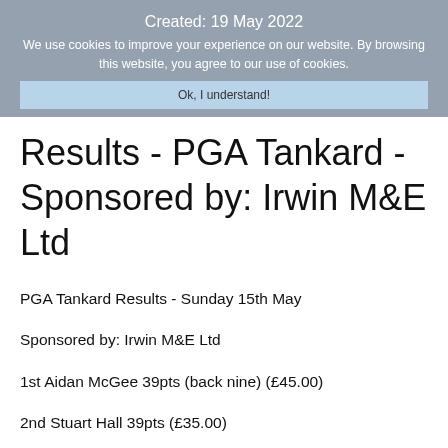Created: 19 May 2022
We use cookies to improve your experience on our website. By browsing this website, you agree to our use of cookies.
Ok, I understand!
Results - PGA Tankard - Sponsored by: Irwin M&E Ltd
PGA Tankard Results - Sunday 15th May
Sponsored by: Irwin M&E Ltd
1st Aidan McGee 39pts (back nine) (£45.00)
2nd Stuart Hall 39pts (£35.00)